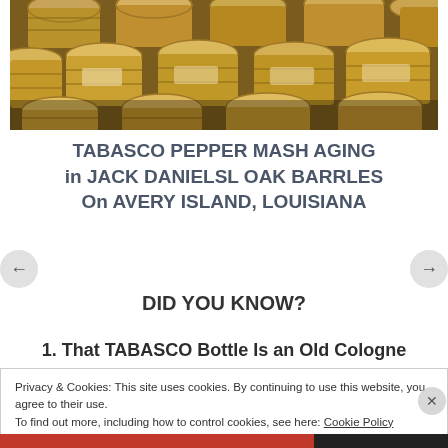[Figure (photo): Rows of wooden barrels (Jack Daniel's oak barrels) used for aging Tabasco pepper mash, viewed from above at an angle, stacked in a warehouse.]
TABASCO PEPPER MASH AGING in JACK DANIELSL OAK BARRLES On AVERY ISLAND, LOUISIANA
DID YOU KNOW?
1.  That TABASCO Bottle Is an Old Cologne
Privacy & Cookies: This site uses cookies. By continuing to use this website, you agree to their use.
To find out more, including how to control cookies, see here: Cookie Policy
Close and accept